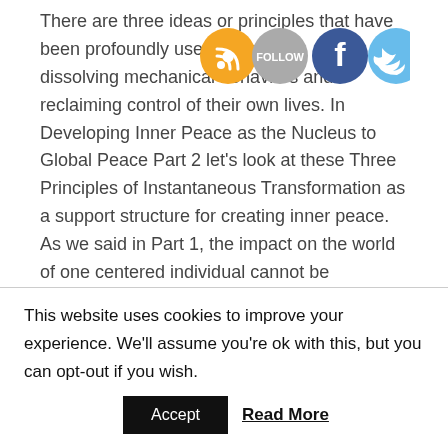There are three ideas or principles that have been profoundly useful to people in dissolving mechanical behaviors and reclaiming control of their own lives. In Developing Inner Peace as the Nucleus to Global Peace Part 2 let's look at these Three Principles of Instantaneous Transformation as a support structure for creating inner peace. As we said in Part 1, the impact on the world of one centered individual cannot be underestimated.
[Figure (infographic): Social media sharing bar showing RSS, Follow, Facebook, and Twitter icons]
This website uses cookies to improve your experience. We'll assume you're ok with this, but you can opt-out if you wish.